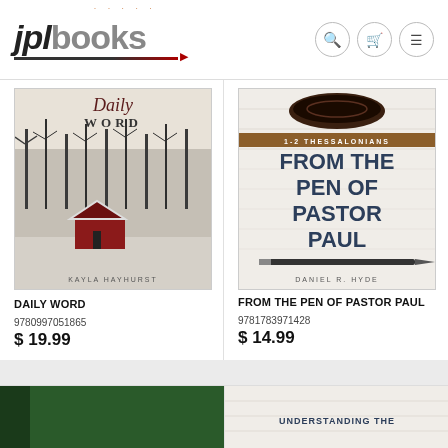jplbooks
[Figure (illustration): Book cover: Daily Word by Kayla Hayhurst - winter scene with red barn and snowy trees]
DAILY WORD
9780997051865
$19.99
[Figure (illustration): Book cover: From the Pen of Pastor Paul (1-2 Thessalonians) by Daniel R. Hyde - coffee cup and pen on wooden surface]
FROM THE PEN OF PASTOR PAUL
9781783971428
$14.99